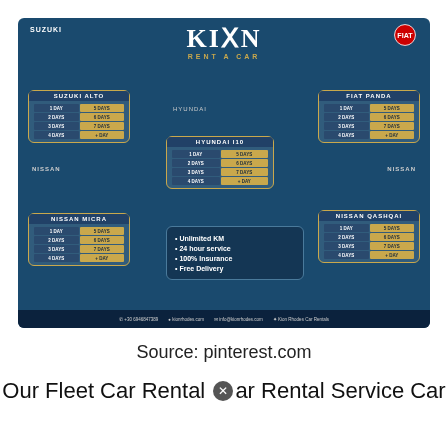[Figure (infographic): KION Rent A Car advertisement showing 5 cars (Suzuki Alto, Hyundai i10, Fiat Panda, Nissan Micra, Nissan Qashqai) with pricing grids for 1-day to multiple days rental. Features: Unlimited KM, 24 hour service, 100% Insurance, Free Delivery. Contact info at bottom.]
Source: pinterest.com
Our Fleet Car Rental ⛔ Car Rental Service Car